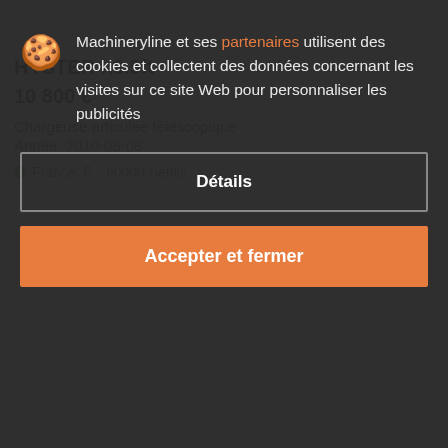[Figure (photo): Three thumbnail image placeholders for product photos]
HYSTER h3.5ft
10 800 €
Chargeuse articulée télescopique
Année: 2010-08-08
France: F... 60000 Senlis
Machineryline et ses partenaires utilisent des cookies et collectent des données concernant les visites sur ce site Web pour personnaliser les publicités
Détails
Accepter et fermer